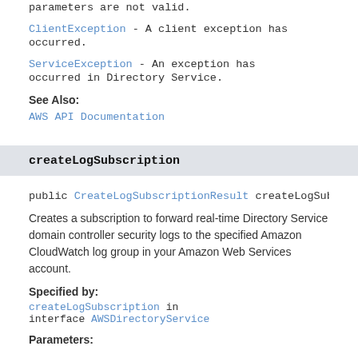parameters are not valid.
ClientException - A client exception has occurred.
ServiceException - An exception has occurred in Directory Service.
See Also:
AWS API Documentation
createLogSubscription
public CreateLogSubscriptionResult createLogSubsc…
Creates a subscription to forward real-time Directory Service domain controller security logs to the specified Amazon CloudWatch log group in your Amazon Web Services account.
Specified by:
createLogSubscription in interface AWSDirectoryService
Parameters: